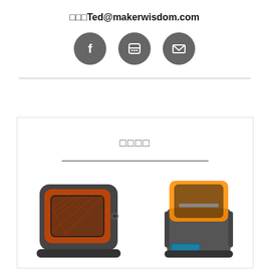□□□Ted@makerwisdom.com
[Figure (infographic): Three dark gray circular social media icons: Facebook (f), LINE chat, and email/envelope icons arranged in a row]
[Figure (photo): Two 3D printers side by side with orange covers/panels - resin SLA 3D printers, one larger on the left and one smaller on the right, both with dark gray bodies and orange transparent tops]
□□□□